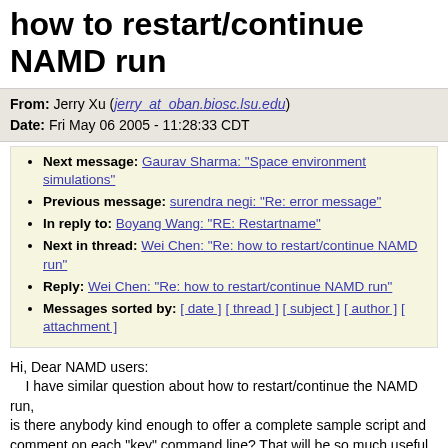how to restart/continue NAMD run
From: Jerry Xu (jerry_at_oban.biosc.lsu.edu)
Date: Fri May 06 2005 - 11:28:33 CDT
Next message: Gaurav Sharma: "Space environment simulations"
Previous message: surendra negi: "Re: error message"
In reply to: Boyang Wang: "RE: Restartname"
Next in thread: Wei Chen: "Re: how to restart/continue NAMD run"
Reply: Wei Chen: "Re: how to restart/continue NAMD run"
Messages sorted by: [ date ] [ thread ] [ subject ] [ author ] [ attachment ]
Hi, Dear NAMD users:
    I have similar question about how to restart/continue the NAMD run,
is there anybody kind enough to offer a complete sample script and comment on each "key" command line? That will be so much useful for